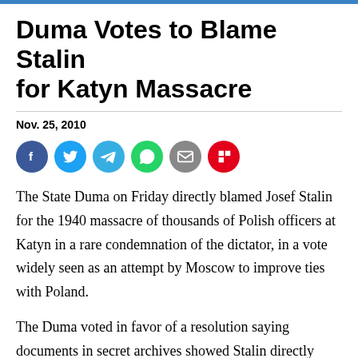Duma Votes to Blame Stalin for Katyn Massacre
Nov. 25, 2010
[Figure (other): Social sharing icons: Facebook, Twitter, Telegram, WhatsApp, Email, Flipboard]
The State Duma on Friday directly blamed Josef Stalin for the 1940 massacre of thousands of Polish officers at Katyn in a rare condemnation of the dictator, in a vote widely seen as an attempt by Moscow to improve ties with Poland.
The Duma voted in favor of a resolution saying documents in secret archives showed Stalin directly ordered the massacre, the body said on its web site.